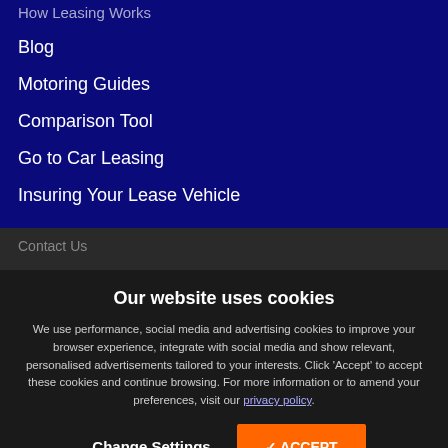How Leasing Works
Blog
Motoring Guides
Comparison Tool
Go to Car Leasing
Insuring Your Lease Vehicle
Contact Us
Our website uses cookies
We use performance, social media and advertising cookies to improve your browser experience, integrate with social media and show relevant, personalised advertisements tailored to your interests. Click 'Accept' to accept these cookies and continue browsing. For more information or to amend your preferences, visit our privacy policy.
£465.05 BUSINESS PRICE PER MONTH+VAT
Change Settings
ACCEPT